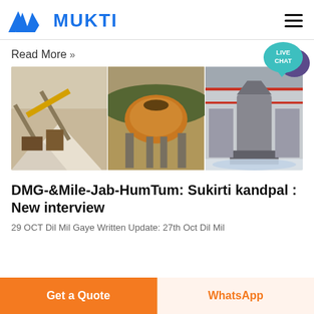MUKTI
Read More »
[Figure (photo): Three industrial/mining equipment photos side by side: left shows a quarry conveyor belt with crushed stone pile; center shows a large crusher machine outdoors; right shows industrial machinery in a factory floor.]
DMG-&Mile-Jab-HumTum: Sukirti kandpal : New interview
29 OCT Dil Mil Gaye Written Update: 27th Oct Dil Mil
Get a Quote
WhatsApp